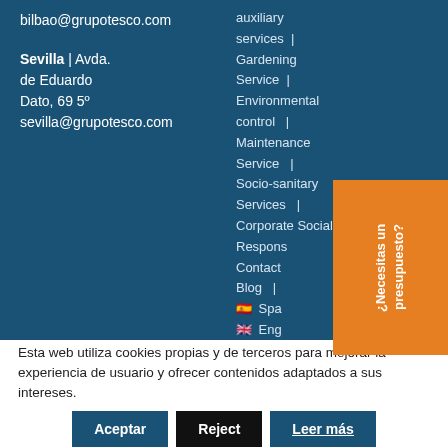bilbao@grupotesco.com
Sevilla | Avda. de Eduardo Dato, 69 5º
sevilla@grupotesco.com
auxiliary services | Gardening Service | Environmental control | Maintenance Service | Socio-sanitary Services | Corporate Social Responsibility | Contact | Blog | Spanish | English | Catalan
¿Necesitas un presupuesto?
Esta web utiliza cookies propias y de terceros para mejorar la experiencia de usuario y ofrecer contenidos adaptados a sus intereses.
Aceptar
Reject
Leer más